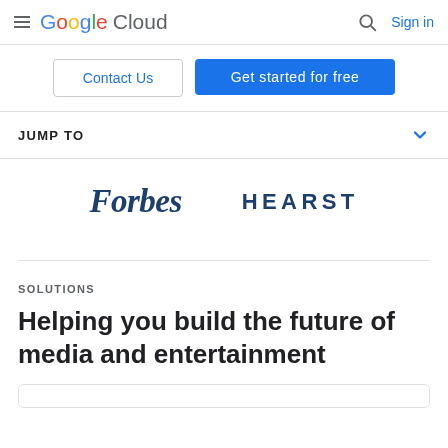Google Cloud — Sign in
Contact Us
Get started for free
JUMP TO
[Figure (logo): Forbes logo in dark blue italic serif font]
[Figure (logo): HEARST logo in dark blue spaced sans-serif capitals]
SOLUTIONS
Helping you build the future of media and entertainment